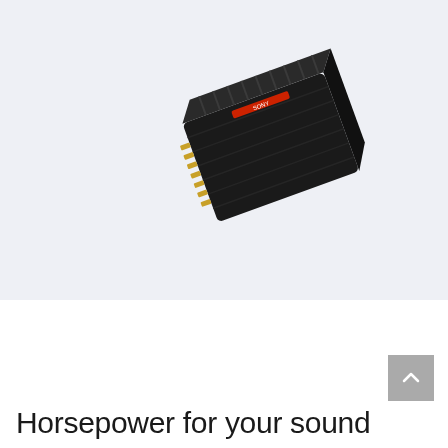[Figure (photo): Black car audio amplifier with ribbed heat sink fins on top and gold terminal connectors along one edge, photographed at an angle on a light blue-grey background]
Horsepower for your sound